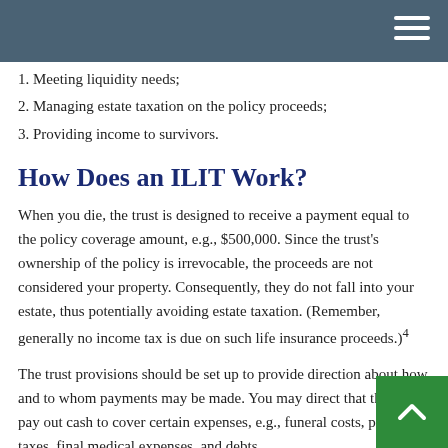1. Meeting liquidity needs;
2. Managing estate taxation on the policy proceeds;
3. Providing income to survivors.
How Does an ILIT Work?
When you die, the trust is designed to receive a payment equal to the policy coverage amount, e.g., $500,000. Since the trust's ownership of the policy is irrevocable, the proceeds are not considered your property. Consequently, they do not fall into your estate, thus potentially avoiding estate taxation. (Remember, generally no income tax is due on such life insurance proceeds.)⁴
The trust provisions should be set up to provide direction about how and to whom payments may be made. You may direct that the trust pay out cash to cover certain expenses, e.g., funeral costs, probate, taxes, final medical expenses, and debts.